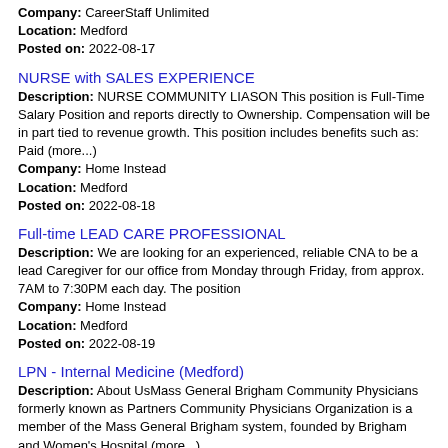Company: CareerStaff Unlimited
Location: Medford
Posted on: 2022-08-17
NURSE with SALES EXPERIENCE
Description: NURSE COMMUNITY LIASON This position is Full-Time Salary Position and reports directly to Ownership. Compensation will be in part tied to revenue growth. This position includes benefits such as: Paid (more...)
Company: Home Instead
Location: Medford
Posted on: 2022-08-18
Full-time LEAD CARE PROFESSIONAL
Description: We are looking for an experienced, reliable CNA to be a lead Caregiver for our office from Monday through Friday, from approx. 7AM to 7:30PM each day. The position
Company: Home Instead
Location: Medford
Posted on: 2022-08-19
LPN - Internal Medicine (Medford)
Description: About UsMass General Brigham Community Physicians formerly known as Partners Community Physicians Organization is a member of the Mass General Brigham system, founded by Brigham and Women's Hospital (more...)
Company: Partners Healthcare IHP
Location: Medford